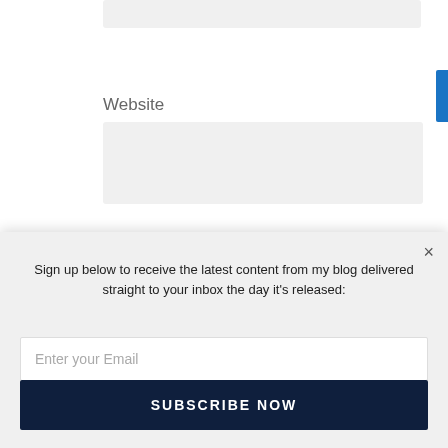Website
Check here to receive new posts via email
POST COMMENT
Sign up below to receive the latest content from my blog delivered straight to your inbox the day it's released:
Enter your Email
SUBSCRIBE NOW